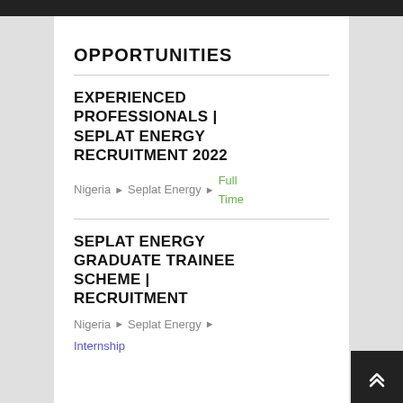OPPORTUNITIES
EXPERIENCED PROFESSIONALS | SEPLAT ENERGY RECRUITMENT 2022
Nigeria ▸ Seplat Energy ▸ Full Time
SEPLAT ENERGY GRADUATE TRAINEE SCHEME | RECRUITMENT
Nigeria ▸ Seplat Energy ▸ Internship